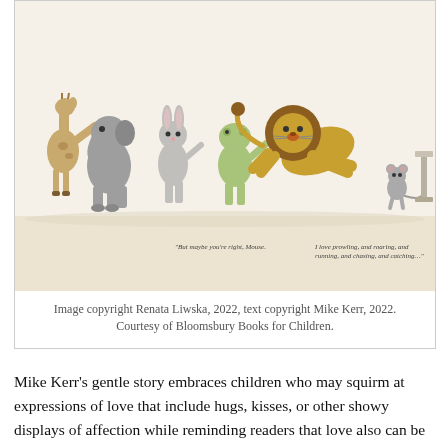[Figure (illustration): Children's book illustration showing a line of cartoon animals (giraffe, elephant, rabbit, green creature) walking left to right, and a lion leaping toward a small mouse near a pedestal. Two captions inside the illustration read: 'But maybe you're right, Mouse.' and 'I love prowling, and roaring, and running, and chasing, and catching…']
Image copyright Renata Liwska, 2022, text copyright Mike Kerr, 2022. Courtesy of Bloomsbury Books for Children.
Mike Kerr's gentle story embraces children who may squirm at expressions of love that include hugs, kisses, or other showy displays of affection while reminding readers that love also can be revealed in favorite activities and moments shared with others. Mouse's thoughtful response to Lion's initial refusal to participate in craft time demonstrates empathetic friendship and alternate thinking that will resonate with kids. Honest dialogue between Lion and Mouse gives readers language to discuss their own feelings about love and other emotions as well as about how they like to express them. As Lion comes to see that he does love many things, he realizes that friendship